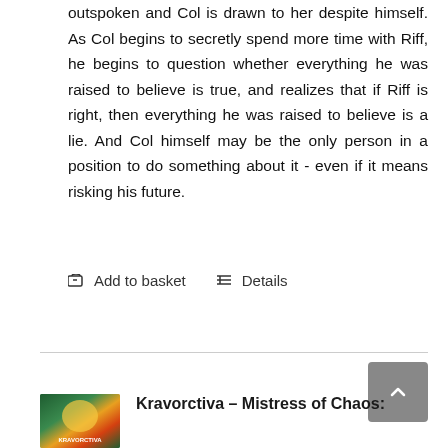outspoken and Col is drawn to her despite himself. As Col begins to secretly spend more time with Riff, he begins to question whether everything he was raised to believe is true, and realizes that if Riff is right, then everything he was raised to believe is a lie. And Col himself may be the only person in a position to do something about it - even if it means risking his future.
Add to basket   Details
Kravorctiva – Mistress of Chaos: